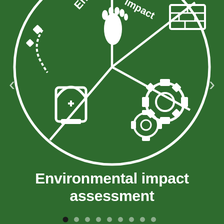[Figure (illustration): Top circular icon showing environmental impact assessment categories: footprint, environmental/impact labels, tombstone, gears, building blocks — white line art on dark green background. Partial circle visible at top of page.]
Environmental impact assessment
[Figure (illustration): Navigation dots row: first dot dark/active, remaining eight dots lighter. Pagination indicator for a slideshow.]
[Figure (illustration): Bottom circular icon showing energy/utility concepts: fan/turbine with arrow, water waves container, sigma/sum box, lightning bolt in circle, dashed arc — white line art on dark green background. Partial circle visible at bottom of page.]